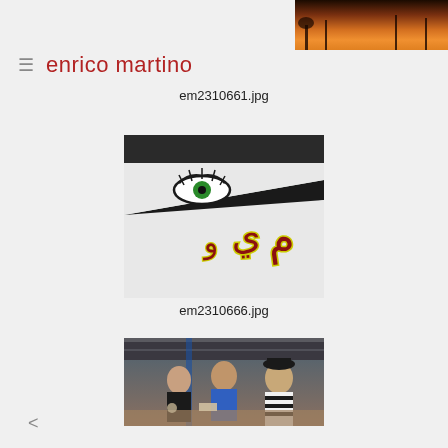[Figure (photo): Partially visible cropped photo at top of page showing an outdoor sunset or dusk scene with warm orange tones]
≡  enrico martino
em2310661.jpg
[Figure (photo): Close-up photo of a painted boat hull showing an eye motif (green iris) with Arabic/decorative script text in dark red with yellow outline against a white background]
em2310666.jpg
[Figure (photo): Indoor scene showing young men seated at a table in what appears to be a market or food court, one wearing a striped black and white outfit and black hat]
em2310672.jpg